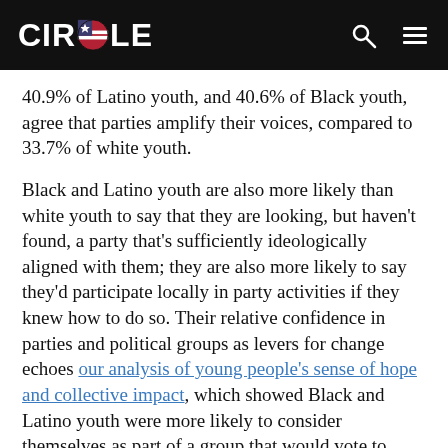CIRCLE
40.9% of Latino youth, and 40.6% of Black youth, agree that parties amplify their voices, compared to 33.7% of white youth.
Black and Latino youth are also more likely than white youth to say that they are looking, but haven't found, a party that's sufficiently ideologically aligned with them; they are also more likely to say they'd participate locally in party activities if they knew how to do so. Their relative confidence in parties and political groups as levers for change echoes our analysis of young people's sense of hope and collective impact, which showed Black and Latino youth were more likely to consider themselves as part of a group that would vote to express their views, and